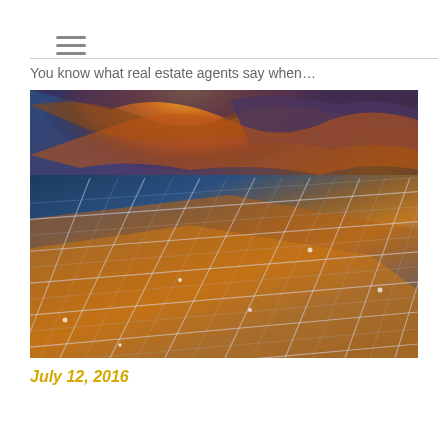≡
You know what real estate agents say when…
[Figure (photo): Close-up photograph of solar panels reflecting dramatic orange and golden clouds against a blue-purple stormy sky. The solar panels fill most of the frame, angled diagonally, with the sunset/dramatic clouds visible in the reflections and sky behind.]
July 12, 2016